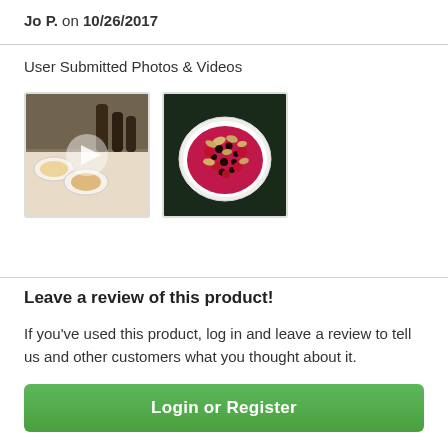Jo P. on 10/26/2017
User Submitted Photos & Videos
[Figure (photo): Two user-submitted images: a video thumbnail showing food items on a table with a play button overlay, and a photo of a bowl filled with berries, nuts, and toppings.]
Leave a review of this product!
If you've used this product, log in and leave a review to tell us and other customers what you thought about it.
Login or Register